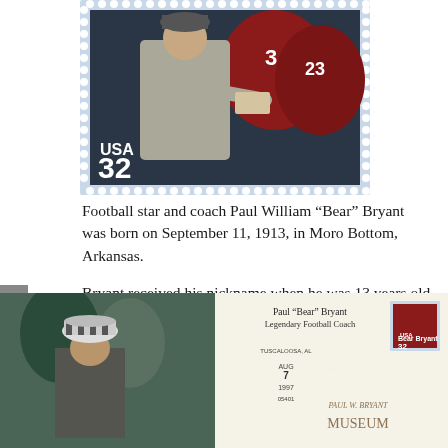[Figure (illustration): A USA 32-cent postage stamp depicting Paul 'Bear' Bryant in a suit pointing, with football players wearing helmets numbered 3 and 23 in the background. Stamp has perforated edges on a light blue/gray background.]
Football star and coach Paul William “Bear” Bryant was born on September 11, 1913, in Moro Bottom, Arkansas.
Bryant received his nickname when he was 13 years old and had agreed to wrestle a captive bear for a carnival promotion. While his mother wanted him to be a minister, he knew he wanted to be a coach.
[Figure (photo): Bottom composite image: left side shows a photo of Bear Bryant in his signature houndstooth hat at a game sideline. Right side shows a first-day cover envelope with a Paul 'Bear' Bryant stamp, Tuscaloosa AL August 7 1997 postmark, text reading 'Paul "Bear" Bryant Legendary Football Coach', and the Paul W. Bryant Museum logo.]